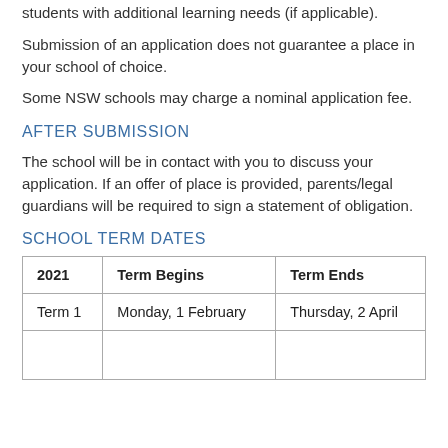students with additional learning needs (if applicable).
Submission of an application does not guarantee a place in your school of choice.
Some NSW schools may charge a nominal application fee.
AFTER SUBMISSION
The school will be in contact with you to discuss your application. If an offer of place is provided, parents/legal guardians will be required to sign a statement of obligation.
SCHOOL TERM DATES
| 2021 | Term Begins | Term Ends |
| --- | --- | --- |
| Term 1 | Monday, 1 February | Thursday, 2 April |